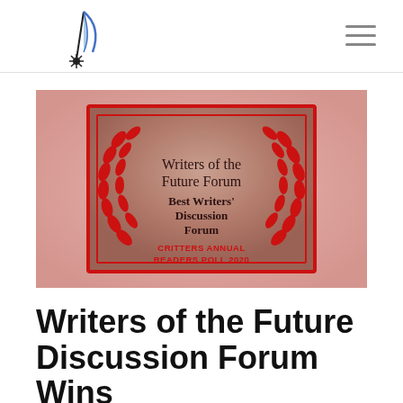Writers of the Future Forum logo and navigation
[Figure (illustration): Award badge on a rose-gold/pink background. Inside a red-bordered square frame with red laurel wreaths on either side. Text reads: Writers of the Future Forum — Best Writers' Discussion Forum — CRITTERS ANNUAL READERS POLL 2020]
Writers of the Future Discussion Forum Wins